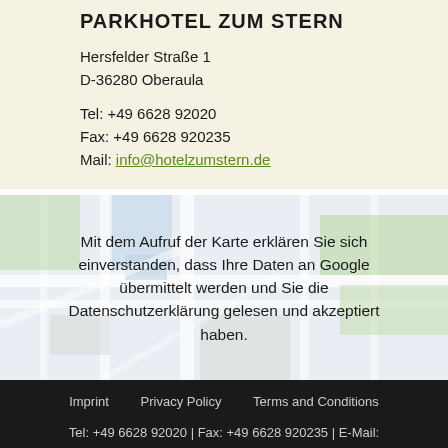PARKHOTEL ZUM STERN
Hersfelder Straße 1
D-36280 Oberaula
Tel: +49 6628 92020
Fax: +49 6628 920235
Mail: info@hotelzumstern.de
[Figure (map): Blurred/greyed out street map background with overlay text requesting consent to load Google Maps. Text reads: Mit dem Aufruf der Karte erklären Sie sich einverstanden, dass Ihre Daten an Google übermittelt werden und Sie die Datenschutzerklärung gelesen und akzeptiert haben.]
Imprint   Privacy Policy   Terms and Conditions
Tel: +49 6628 92020 | Fax: +49 6628 920235 | E-Mail:
info@hotelzumstern.de